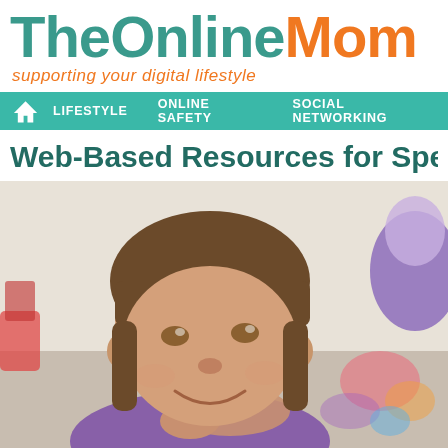TheOnlineMom
supporting your digital lifestyle
LIFESTYLE   ONLINE SAFETY   SOCIAL NETWORKING
Web-Based Resources for Spec
[Figure (photo): A young girl with brown hair and bangs, smiling and looking upward, resting her chin on her hand, lying on the floor with colorful toys visible in the background. Another person in a purple shirt is partially visible on the right side.]